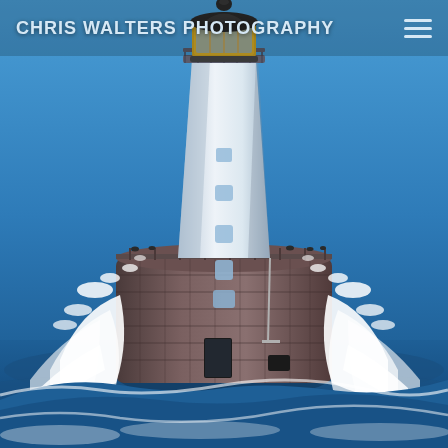CHRIS WALTERS PHOTOGRAPHY
[Figure (photo): A white lighthouse with a dark lantern room and golden trim, standing on a large cylindrical stone base with dark brick/granite. Waves crash dramatically against the base, sending white sea spray high into the air. The sky is a vivid clear blue. Seabirds are perched on the base railings. The photograph is taken from a boat at sea level, giving a dramatic low perspective.]